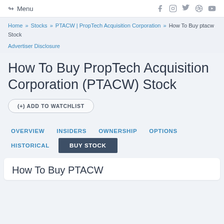Menu | Social icons: f, Instagram, Twitter, Pinterest, YouTube
Home » Stocks » PTACW | PropTech Acquisition Corporation » How To Buy ptacw Stock
Advertiser Disclosure
How To Buy PropTech Acquisition Corporation (PTACW) Stock
(+) ADD TO WATCHLIST
OVERVIEW   INSIDERS   OWNERSHIP   OPTIONS   HISTORICAL   BUY STOCK
How To Buy PTACW